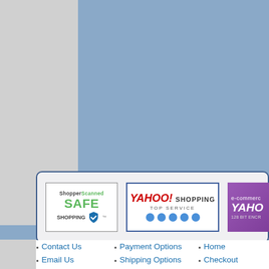[Figure (screenshot): Top portion of an e-commerce website showing a blue/steel-blue product image area and decorative background, partially cropped.]
[Figure (infographic): Trust badge bar containing three logos: ShopperScanned SAFE SHOPPING, YAHOO! SHOPPING TOP SERVICE with 5 stars, and e-commerce Yahoo 128-bit encryption badge.]
Contact Us
Email Us
Company Info
Privacy Policy
Terms & Conditions
Payment Options
Shipping Options
Order Tracking
Se Habla Espanol
International Orders
Home
Checkout
Shopping Cart
Request a Quote
Open a